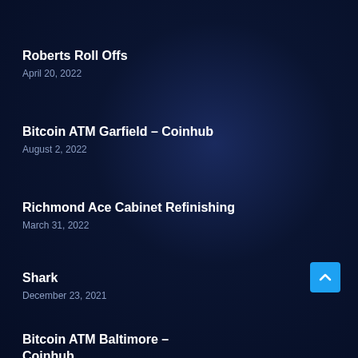Roberts Roll Offs
April 20, 2022
Bitcoin ATM Garfield – Coinhub
August 2, 2022
Richmond Ace Cabinet Refinishing
March 31, 2022
Shark
December 23, 2021
Bitcoin ATM Baltimore – Coinhub
June 6, 2022